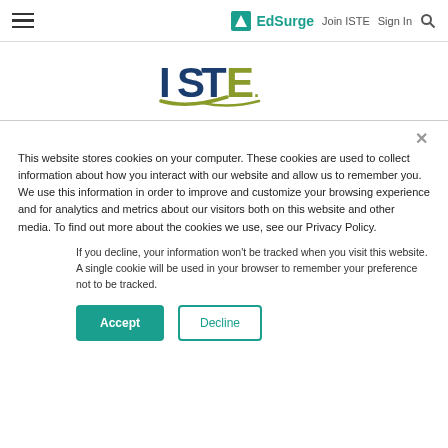EdSurge | Join ISTE | Sign In
[Figure (logo): ISTE logo — bold blue and olive green letters with swoosh graphic]
This website stores cookies on your computer. These cookies are used to collect information about how you interact with our website and allow us to remember you. We use this information in order to improve and customize your browsing experience and for analytics and metrics about our visitors both on this website and other media. To find out more about the cookies we use, see our Privacy Policy.
If you decline, your information won't be tracked when you visit this website. A single cookie will be used in your browser to remember your preference not to be tracked.
Accept   Decline